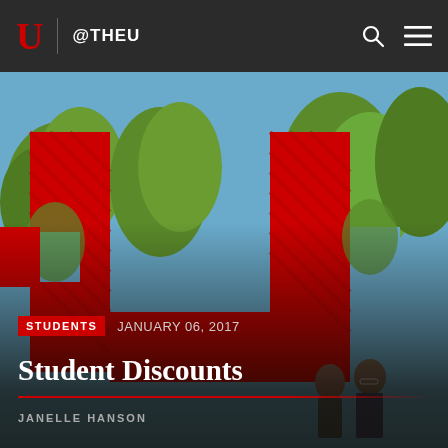U @THEU
[Figure (photo): Large red University of Utah block-U sculpture/art installation with green trees visible through negative spaces; two people visible in lower right looking up at it; campus scene]
STUDENTS   JANUARY 06, 2017
Student Discounts
JANELLE HANSON